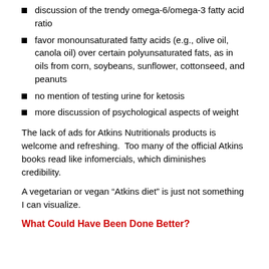discussion of the trendy omega-6/omega-3 fatty acid ratio
favor monounsaturated fatty acids (e.g., olive oil, canola oil) over certain polyunsaturated fats, as in oils from corn, soybeans, sunflower, cottonseed, and peanuts
no mention of testing urine for ketosis
more discussion of psychological aspects of weight
The lack of ads for Atkins Nutritionals products is welcome and refreshing.  Too many of the official Atkins books read like infomercials, which diminishes credibility.
A vegetarian or vegan “Atkins diet” is just not something I can visualize.
What Could Have Been Done Better?